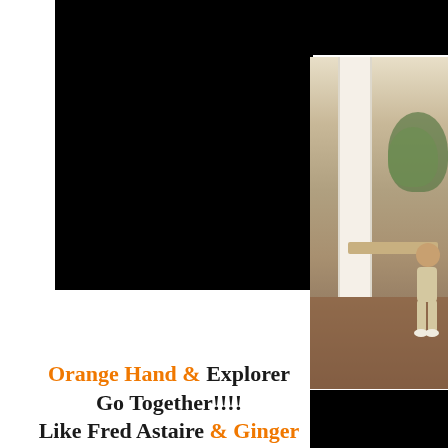[Figure (photo): Large black rectangle occupying the upper-left portion of the page, representing a redacted or blacked-out image area]
[Figure (photo): Right-side column showing a photo of a porch or colonnade with white pillars, a wooden bench, tiled floor, and a child figure standing near the column. Black bars at top and bottom of the right column. Bottom bar shows partial white bold text 'A Ro'.]
Orange Hand & Explorer Go Together!!!! Like Fred Astaire & Ginger Rogers